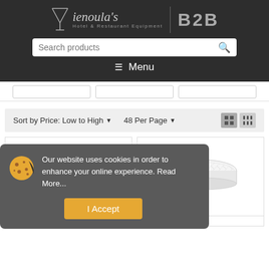[Figure (logo): Vienoula's B2B Hotel & Restaurant Equipment logo with martini glass icon on dark background]
Search products
Menu
Sort by Price: Low to High   48 Per Page
[Figure (screenshot): Two product cards showing hotel/restaurant equipment products]
Our website uses cookies in order to enhance your online experience. Read More...
I Accept